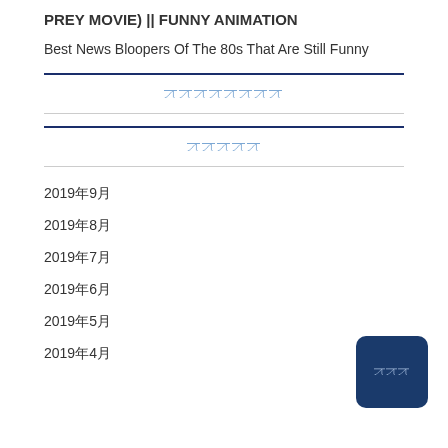PREY MOVIE) || FUNNY ANIMATION
Best News Bloopers Of The 80s That Are Still Funny
ꀀꀀꀀꀀꀀꀀꀀꀀ
ꀀꀀꀀꀀꀀ
2019年9月
2019年8月
2019年7月
2019年6月
2019年5月
2019年4月